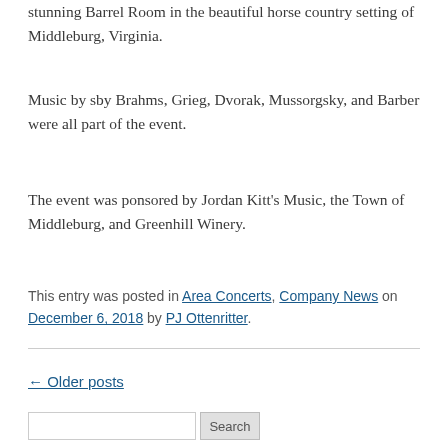stunning Barrel Room in the beautiful horse country setting of Middleburg, Virginia.
Music by sby Brahms, Grieg, Dvorak, Mussorgsky, and Barber were all part of the event.
The event was ponsored by Jordan Kitt's Music, the Town of Middleburg, and Greenhill Winery.
This entry was posted in Area Concerts, Company News on December 6, 2018 by PJ Ottenritter.
← Older posts